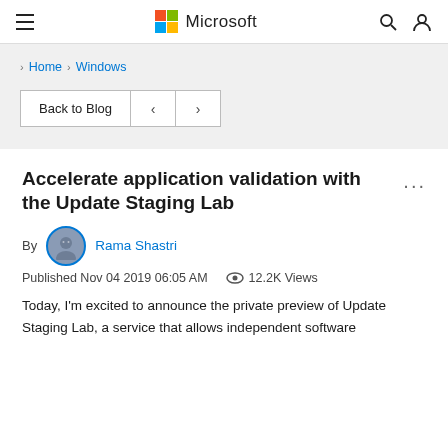Microsoft
> Home > Windows
Back to Blog < >
Accelerate application validation with the Update Staging Lab
By Rama Shastri
Published Nov 04 2019 06:05 AM   12.2K Views
Today, I'm excited to announce the private preview of Update Staging Lab, a service that allows independent software